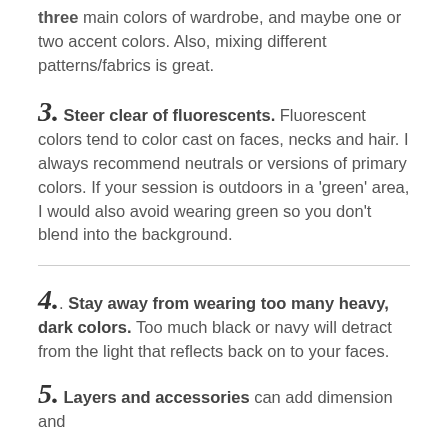three main colors of wardrobe, and maybe one or two accent colors. Also, mixing different patterns/fabrics is great.
3. Steer clear of fluorescents. Fluorescent colors tend to color cast on faces, necks and hair. I always recommend neutrals or versions of primary colors. If your session is outdoors in a 'green' area, I would also avoid wearing green so you don't blend into the background.
4.. Stay away from wearing too many heavy, dark colors. Too much black or navy will detract from the light that reflects back on to your faces.
5. Layers and accessories can add dimension and